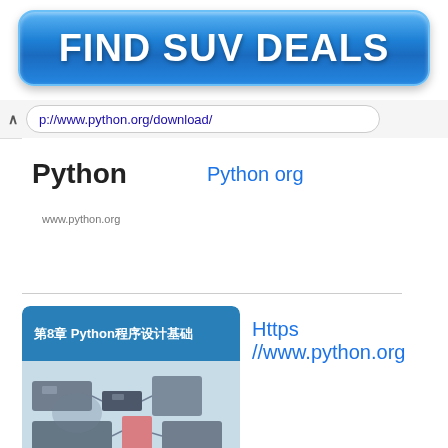[Figure (other): Blue pill-shaped advertisement banner with bold white text reading FIND SUV DEALS]
p://www.python.org/download/
Python
Python org
www.python.org
[Figure (screenshot): Screenshot of a web search result card showing Python website thumbnail with Chinese text '第8章 Python程序设计基础' on a blue background, and circuit board photo below]
Https //www.python.org